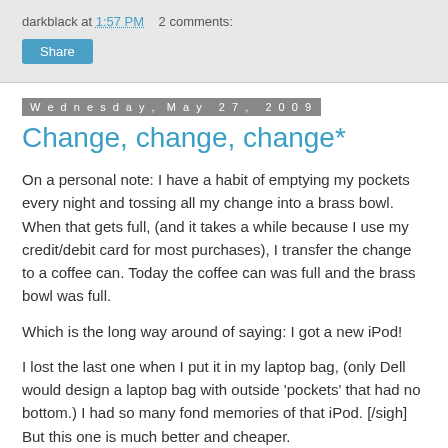darkblack at 1:57 PM   2 comments:
Share
Wednesday, May 27, 2009
Change, change, change*
On a personal note: I have a habit of emptying my pockets every night and tossing all my change into a brass bowl. When that gets full, (and it takes a while because I use my credit/debit card for most purchases), I transfer the change to a coffee can. Today the coffee can was full and the brass bowl was full.
Which is the long way around of saying: I got a new iPod!
I lost the last one when I put it in my laptop bag, (only Dell would design a laptop bag with outside 'pockets' that had no bottom.) I had so many fond memories of that iPod. [/sigh] But this one is much better and cheaper.